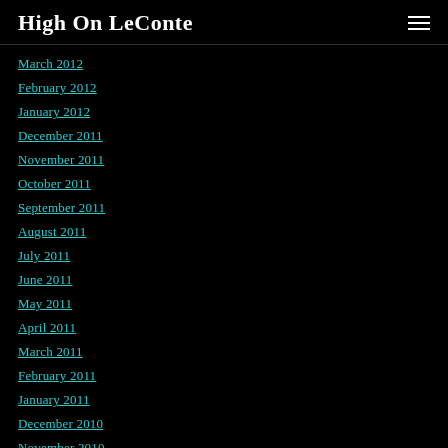High On LeConte
March 2012
February 2012
January 2012
December 2011
November 2011
October 2011
September 2011
August 2011
July 2011
June 2011
May 2011
April 2011
March 2011
February 2011
January 2011
December 2010
November 2010